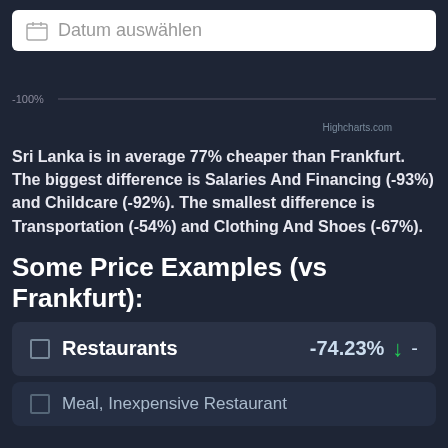Datum auswählen
-100%
Highcharts.com
Sri Lanka is in average 77% cheaper than Frankfurt. The biggest difference is Salaries And Financing (-93%) and Childcare (-92%). The smallest difference is Transportation (-54%) and Clothing And Shoes (-67%).
Some Price Examples (vs Frankfurt):
Restaurants -74.23% ↓ -
Meal, Inexpensive Restaurant